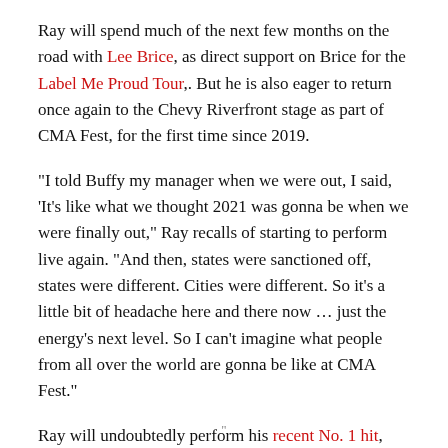Ray will spend much of the next few months on the road with Lee Brice, as direct support on Brice for the Label Me Proud Tour,. But he is also eager to return once again to the Chevy Riverfront stage as part of CMA Fest, for the first time since 2019.
"I told Buffy my manager when we were out, I said, 'It's like what we thought 2021 was gonna be when we were finally out," Ray recalls of starting to perform live again. "And then, states were sanctioned off, states were different. Cities were different. So it's a little bit of headache here and there now … just the energy's next level. So I can't imagine what people from all over the world are gonna be like at CMA Fest."
Ray will undoubtedly perform his recent No. 1 hit, "Whiskey and Rain," as well as his current single, "Holy Water," which is already